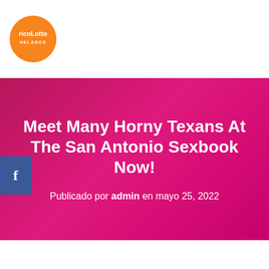[Figure (logo): Rico Lotto Helados circular orange logo with white text]
Meet Many Horny Texans At The San Antonio Sexbook Now!
Publicado por admin en mayo 25, 2022
Fuckbook
The climate is getting hotter by the minute here in San Antonio, and all that heat is coming from our hot and sexy